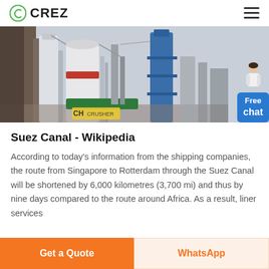CREZ
[Figure (photo): Industrial machinery and crushers at a manufacturing/mining plant site, with large white cylindrical equipment, red-banded grinder, blue tower structure, and CH CRUSHER branding visible.]
Suez Canal - Wikipedia
According to today's information from the shipping companies, the route from Singapore to Rotterdam through the Suez Canal will be shortened by 6,000 kilometres (3,700 mi) and thus by nine days compared to the route around Africa. As a result, liner services